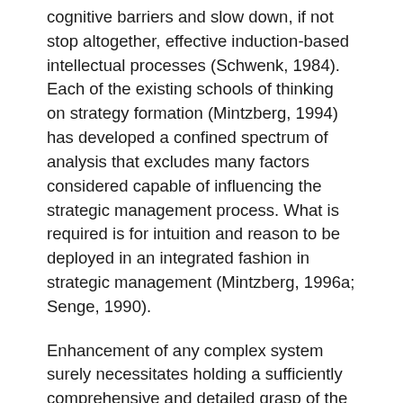cognitive barriers and slow down, if not stop altogether, effective induction-based intellectual processes (Schwenk, 1984). Each of the existing schools of thinking on strategy formation (Mintzberg, 1994) has developed a confined spectrum of analysis that excludes many factors considered capable of influencing the strategic management process. What is required is for intuition and reason to be deployed in an integrated fashion in strategic management (Mintzberg, 1996a; Senge, 1990).
Enhancement of any complex system surely necessitates holding a sufficiently comprehensive and detailed grasp of the system's mechanism. The perceived complexity of the strategic management system has often been shown to be a truly formidable obstacle. What are the key variables affecting our best understanding of such dynamics?